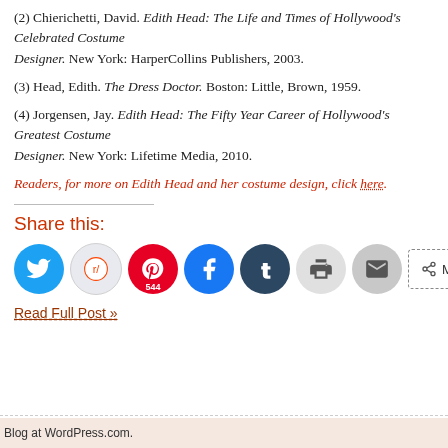(2) Chierichetti, David. Edith Head: The Life and Times of Hollywood's Celebrated Costume Designer. New York: HarperCollins Publishers, 2003.
(3) Head, Edith. The Dress Doctor. Boston: Little, Brown, 1959.
(4) Jorgensen, Jay. Edith Head: The Fifty Year Career of Hollywood's Greatest Costume Designer. New York: Lifetime Media, 2010.
Readers, for more on Edith Head and her costume design, click here.
Share this:
[Figure (infographic): Social sharing buttons: Twitter, Reddit, Pinterest (544), Facebook, Tumblr, Print, Email, More]
Read Full Post »
Blog at WordPress.com.